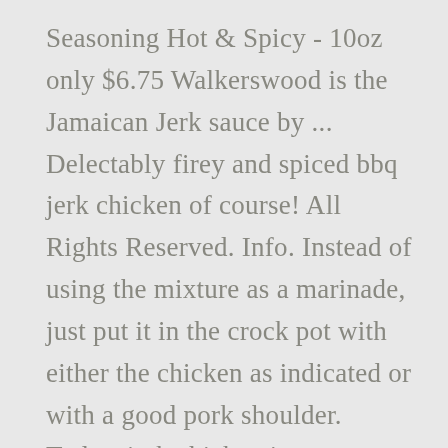Seasoning Hot & Spicy - 10oz only $6.75 Walkerswood is the Jamaican Jerk sauce by ... Delectably firey and spiced bbq jerk chicken of course! All Rights Reserved. Info. Instead of using the mixture as a marinade, just put it in the crock pot with either the chicken as indicated or with a good pork shoulder. Today, jerk chicken is an essential part of Jamaican cuisine and a delicacy that is enjoyed by people around the world. A mixture of quintessential Jamaican ingredients makes for one complex and delicious marinade. Set BBQ grill on high. This is so good. The longer the better! Add comma separated list of ingredients to